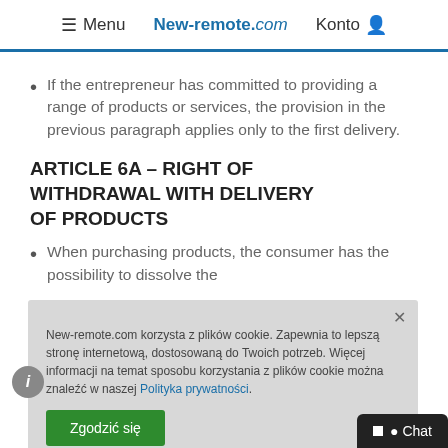≡ Menu  New-remote.com  Konto
If the entrepreneur has committed to providing a range of products or services, the provision in the previous paragraph applies only to the first delivery.
ARTICLE 6A – RIGHT OF WITHDRAWAL WITH DELIVERY OF PRODUCTS
When purchasing products, the consumer has the possibility to dissolve the
New-remote.com korzysta z plików cookie. Zapewnia to lepszą stronę internetową, dostosowaną do Twoich potrzeb. Więcej informacji na temat sposobu korzystania z plików cookie można znaleźć w naszej Polityka prywatności.
Zgodzić się
necessary to be able to judge whether he